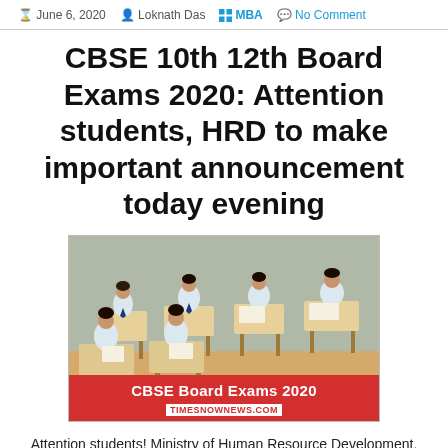June 6, 2020  Loknath Das  MBA  No Comment
CBSE 10th 12th Board Exams 2020: Attention students, HRD to make important announcement today evening
[Figure (photo): Students in school uniform sitting at desks writing an exam in a classroom, with a red banner overlay reading 'CBSE Board Exams 2020' and 'TIMESNOWNEWS.COM']
Attention students! Ministry of Human Resource Development, MHRD would be making an important announcement regarding the upcoming CBSE Board